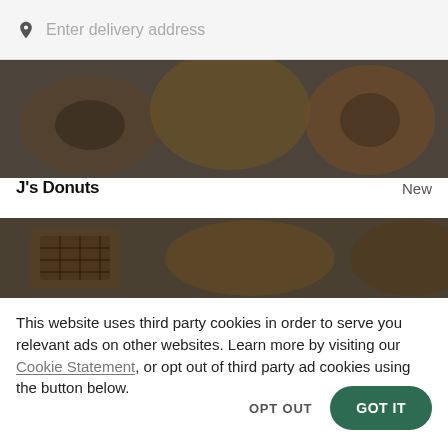Enter delivery address
[Figure (photo): Top portion of a food photo showing donuts and pastries on plates, darkened/dimmed]
J's Donuts   New
[Figure (photo): Bottom portion of a food photo showing waffles and pastries on plates, darkened/dimmed]
This website uses third party cookies in order to serve you relevant ads on other websites. Learn more by visiting our Cookie Statement, or opt out of third party ad cookies using the button below.
OPT OUT
GOT IT